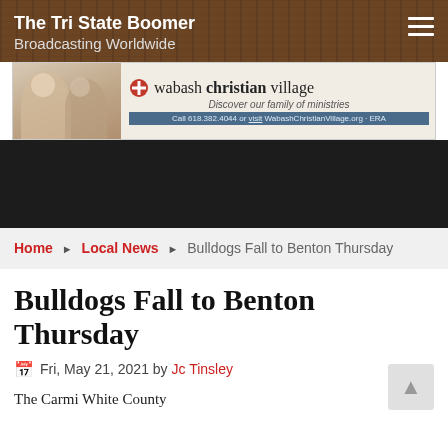The Tri State Boomer
Broadcasting Worldwide
[Figure (illustration): Wabash Christian Village advertisement banner with photo of two people and logo with cross symbol. Text: wabash christian village, Discover our family of ministries, Call 618.382.4044 or visit WabashChristianVillage.org. ERA]
Home ▶ Local News ▶ Bulldogs Fall to Benton Thursday
Bulldogs Fall to Benton Thursday
Fri, May 21, 2021 by Jc Tinsley
The Carmi White County